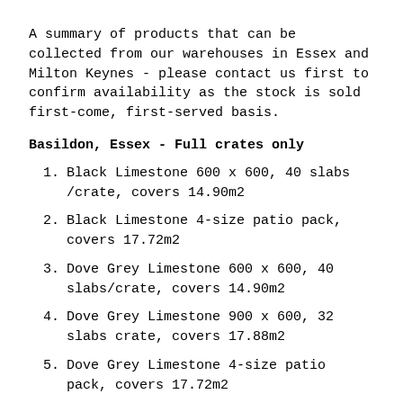A summary of products that can be collected from our warehouses in Essex and Milton Keynes - please contact us first to confirm availability as the stock is sold first-come, first-served basis.
Basildon, Essex - Full crates only
Black Limestone 600 x 600, 40 slabs /crate, covers 14.90m2
Black Limestone 4-size patio pack, covers 17.72m2
Dove Grey Limestone 600 x 600, 40 slabs/crate, covers 14.90m2
Dove Grey Limestone 900 x 600, 32 slabs crate, covers 17.88m2
Dove Grey Limestone 4-size patio pack, covers 17.72m2